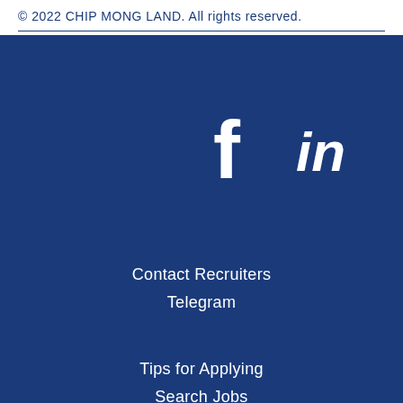© 2022 CHIP MONG LAND. All rights reserved.
[Figure (logo): Facebook and LinkedIn social media icons (f and in) in white on dark blue background]
Contact Recruiters
Telegram
Tips for Applying
Search Jobs
Top Search